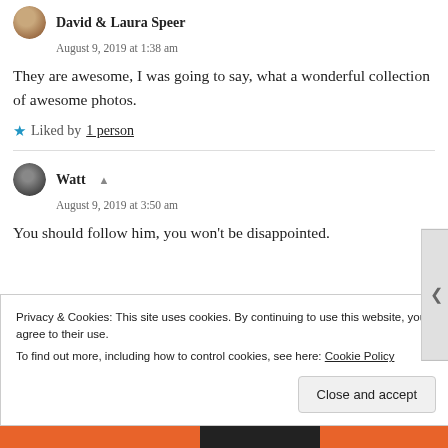David & Laura Speer
August 9, 2019 at 1:38 am
They are awesome, I was going to say, what a wonderful collection of awesome photos.
★ Liked by 1 person
Watt
August 9, 2019 at 3:50 am
You should follow him, you won't be disappointed.
Privacy & Cookies: This site uses cookies. By continuing to use this website, you agree to their use. To find out more, including how to control cookies, see here: Cookie Policy
Close and accept